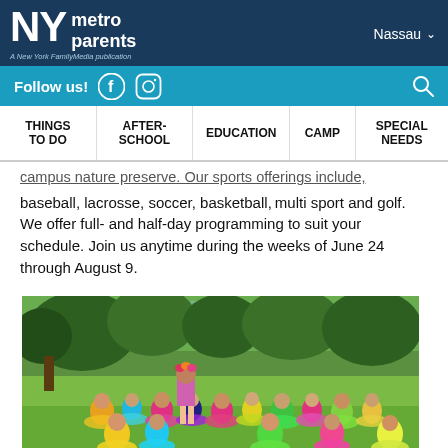NY metro parents — A New York FamilyMedia publication | Nassau
Follow us! [Facebook] [Instagram] [Search]
THINGS TO DO | AFTER-SCHOOL | EDUCATION | CAMP | SPECIAL NEEDS
campus nature preserve. Our sports offerings include, baseball, lacrosse, soccer, basketball, multi sport and golf. We offer full- and half-day programming to suit your schedule. Join us anytime during the weeks of June 24 through August 9.
[Figure (photo): Children in colorful grass skirts and costumes dancing outdoors on a lawn, with trees in the background and an instructor or performer in front of them.]